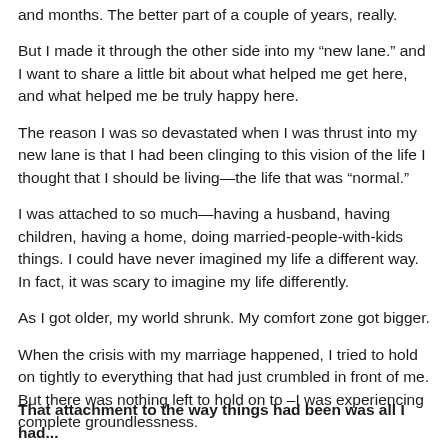and months. The better part of a couple of years, really.
But I made it through the other side into my “new lane.” and I want to share a little bit about what helped me get here, and what helped me be truly happy here.
The reason I was so devastated when I was thrust into my new lane is that I had been clinging to this vision of the life I thought that I should be living—the life that was “normal.”
I was attached to so much—having a husband, having children, having a home, doing married-people-with-kids things. I could have never imagined my life a different way. In fact, it was scary to imagine my life differently.
As I got older, my world shrunk. My comfort zone got bigger.
When the crisis with my marriage happened, I tried to hold on tightly to everything that had just crumbled in front of me. But there was nothing left to hold on to –I was experiencing complete groundlessness.
That attachment to the way things had been was all I had...